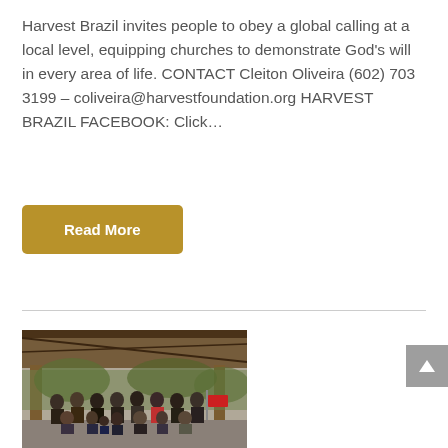Harvest Brazil invites people to obey a global calling at a local level, equipping churches to demonstrate God’s will in every area of life. CONTACT Cleiton Oliveira (602) 703 3199 – coliveira@harvestfoundation.org HARVEST BRAZIL FACEBOOK: Click...
Read More
[Figure (photo): Group photo of approximately 20-25 people standing and sitting under a wooden shelter/pavilion structure. The group appears to be at an outdoor gathering. There is a red sign visible near a wooden post.]